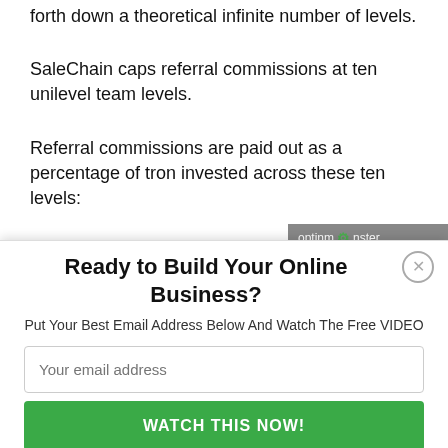forth down a theoretical infinite number of levels.
SaleChain caps referral commissions at ten unilevel team levels.
Referral commissions are paid out as a percentage of tron invested across these ten levels:
[Figure (screenshot): OptinMonster branding badge in grey, showing 'optinmonster' text with monster icon]
Ready to Build Your Online Business?
Put Your Best Email Address Below And Watch The Free VIDEO
Your email address
WATCH THIS NOW!